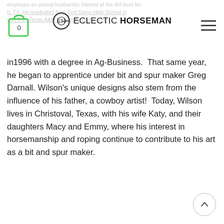ECLECTIC HORSEMAN
in1996 with a degree in Ag-Business. That same year, he began to apprentice under bit and spur maker Greg Darnall. Wilson's unique designs also stem from the influence of his father, a cowboy artist! Today, Wilson lives in Christoval, Texas, with his wife Katy, and their daughters Macy and Emmy, where his interest in horsemanship and roping continue to contribute to his art as a bit and spur maker.